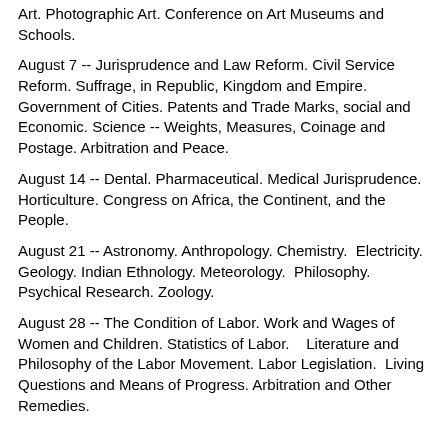Art.  Photographic Art.  Conference on Art Museums and Schools.
August 7 -- Jurisprudence and Law Reform.  Civil Service Reform.  Suffrage, in Republic, Kingdom and Empire.  Government of Cities.  Patents and Trade Marks, social and Economic.  Science -- Weights, Measures, Coinage and Postage.  Arbitration and Peace.
August 14 -- Dental.  Pharmaceutical.  Medical Jurisprudence.  Horticulture.  Congress on Africa, the Continent, and the People.
August 21 -- Astronomy.  Anthropology.  Chemistry.  Electricity.  Geology.  Indian Ethnology. Meteorology.  Philosophy.  Psychical Research.  Zoology.
August 28 -- The Condition of Labor. Work and Wages of Women and Children.  Statistics of Labor.    Literature and Philosophy of the Labor Movement.  Labor Legislation.  Living Questions and Means of Progress. Arbitration and Other Remedies.